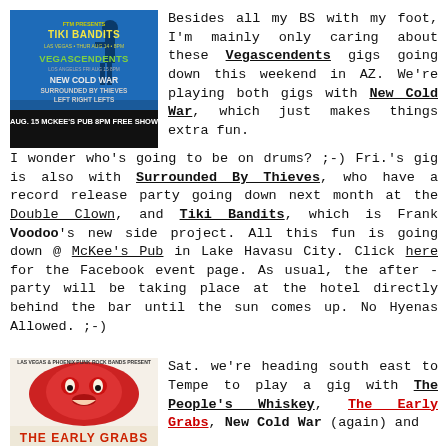[Figure (photo): Concert poster for Tiki Bandits, Vegascendents, New Cold War, Surrounded By Thieves, Left Right Lefts. Aug. 15 McKee's Pub 8PM Free Show]
Besides all my BS with my foot, I'm mainly only caring about these Vegascendents gigs going down this weekend in AZ. We're playing both gigs with New Cold War, which just makes things extra fun. I wonder who's going to be on drums? ;-) Fri.'s gig is also with Surrounded By Thieves, who have a record release party going down next month at the Double Clown, and Tiki Bandits, which is Frank Voodoo's new side project. All this fun is going down @ McKee's Pub in Lake Havasu City. Click here for the Facebook event page. As usual, the after-party will be taking place at the hotel directly behind the bar until the sun comes up. No Hyenas Allowed. ;-)
[Figure (photo): Concert poster for The Early Grabs - Las Vegas & Phoenix Punk Rock Bands Present]
Sat. we're heading south east to Tempe to play a gig with The People's Whiskey, The Early Grabs, New Cold War (again) and